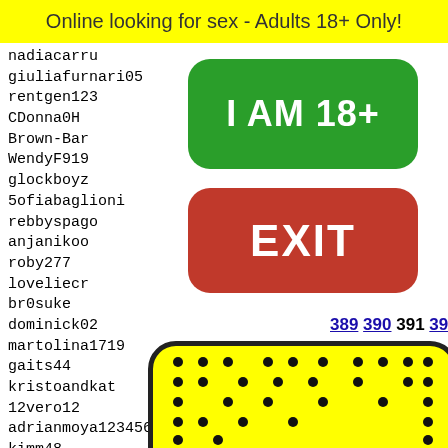Online looking for sex - Adults 18+ Only!
nadiacarru
giuliafurnari05
rentgen123
CDonna0H
Brown-Bar
WendyF919
glockboyz
5ofiabaglioni
rebbyspago
anjanikoo
roby277
loveliecr
br0suke
dominick02
martolina1719
gaits44
kristoandkat
12vero12
adrianmoya1234567890
kimm48
dilanc
marcos
misael
vitobe
Salvad
[Figure (illustration): Green button with text 'I AM 18+' and red button with text 'EXIT']
389 390 391 392 393
[Figure (illustration): Yellow rounded rectangle with black dots pattern and a green bowtie graphic at the bottom]